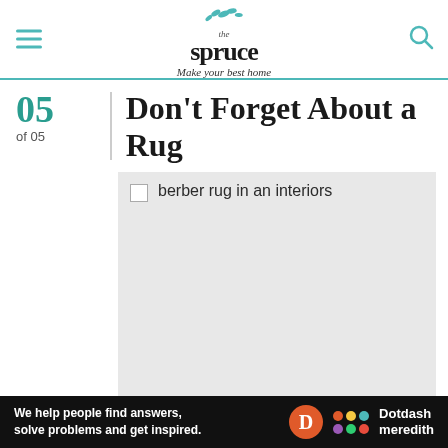the spruce — Make your best home
05 of 05 | Don't Forget About a Rug
[Figure (photo): Placeholder image for berber rug in an interiors setting. Image failed to load, showing alt text: berber rug in an interiors]
We help people find answers, solve problems and get inspired. — Dotdash meredith